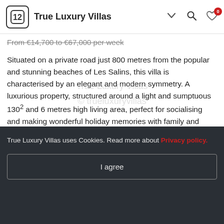True Luxury Villas
From €14,700 to €67,000 per week
Situated on a private road just 800 metres from the popular and stunning beaches of Les Salins, this villa is characterised by an elegant and modern symmetry. A luxurious property, structured around a light and sumptuous 130² and 6 metres high living area, perfect for socialising and making wonderful holiday memories with family and friends.
Boasting a large (20x7m) heated swimming pool and a 30m² pool house with a fully equipped summer
View more
True Luxury Villas uses Cookies. Read more about Privacy policy.
I agree